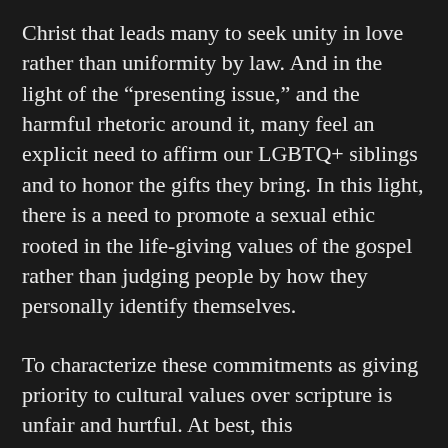Christ that leads many to seek unity in love rather than uniformity by law. And in the light of the “presenting issue,” and the harmful rhetoric around it, many feel an explicit need to affirm our LGBTQ+ siblings and to honor the gifts they bring. In this light, there is a need to promote a sexual ethic rooted in the life-giving values of the gospel rather than judging people by how they personally identify themselves.
To characterize these commitments as giving priority to cultural values over scripture is unfair and hurtful. At best, this characterization involves the fallacy of hasty generalization or the taking of an isolated or extreme example and using it to cover others;